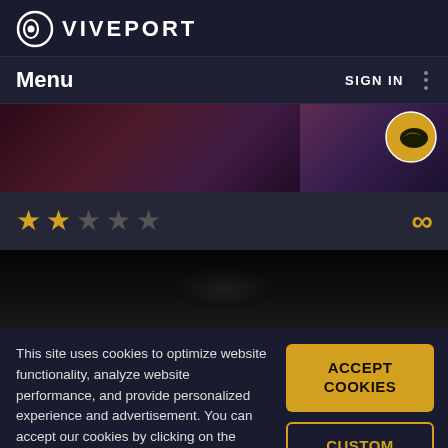VIVEPORT
Menu   SIGN IN
[Figure (photo): Hero banner with dark reddish-purple game scene background; yellow/black circular badge in top-right corner]
[Figure (infographic): Rating row: 2 gold stars, 3 grey stars, and gold infinity symbol on the right]
[Figure (photo): Dark near-black game scene image]
This site uses cookies to optimize website functionality, analyze website performance, and provide personalized experience and advertisement. You can accept our cookies by clicking on the button or manage your preference on "Cookie Preferences".
ACCEPT COOKIES
CUSTOM SETTINGS